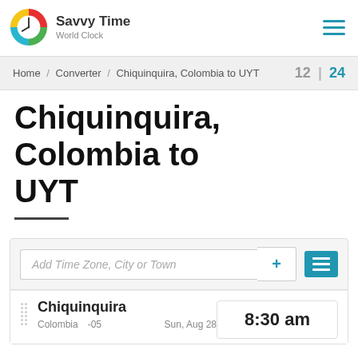[Figure (logo): Savvy Time World Clock colorful circular logo with clock hands]
Savvy Time
World Clock
Home / Converter / Chiquinquira, Colombia to UYT   12 | 24
Chiquinquira, Colombia to UYT
Add Time Zone, City or Town
Chiquinquira   8:30 am
Colombia   -05   Sun, Aug 28